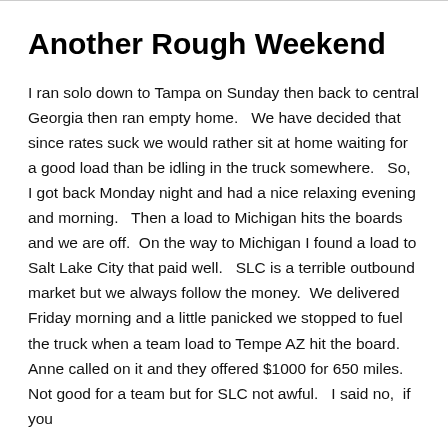Another Rough Weekend
I ran solo down to Tampa on Sunday then back to central Georgia then ran empty home.   We have decided that since rates suck we would rather sit at home waiting for a good load than be idling in the truck somewhere.   So,  I got back Monday night and had a nice relaxing evening and morning.   Then a load to Michigan hits the boards and we are off.  On the way to Michigan I found a load to Salt Lake City that paid well.   SLC is a terrible outbound market but we always follow the money.  We delivered Friday morning and a little panicked we stopped to fuel the truck when a team load to Tempe AZ hit the board.  Anne called on it and they offered $1000 for 650 miles.  Not good for a team but for SLC not awful.   I said no,  if you